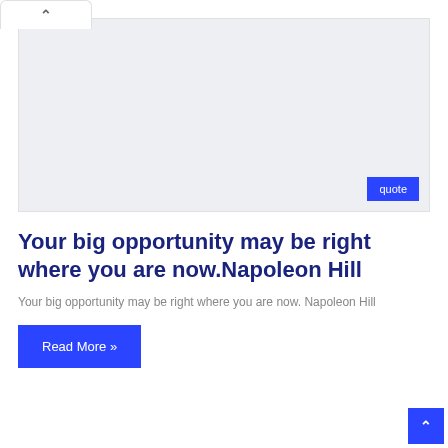[Figure (other): Gray placeholder image box with a blue 'quote' button in the bottom-right corner]
Your big opportunity may be right where you are now.Napoleon Hill
Your big opportunity may be right where you are now. Napoleon Hill
Read More »